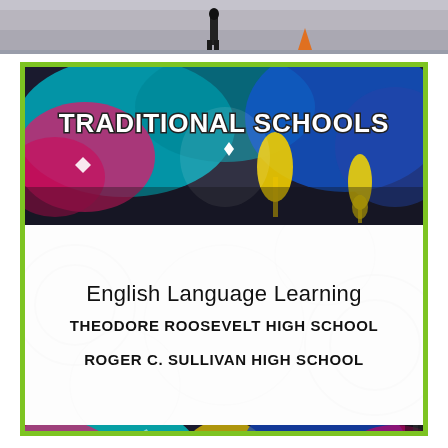[Figure (photo): Partial photo at top of page showing street scene with person and orange cone]
[Figure (photo): Graffiti wall banner with text 'TRADITIONAL SCHOOLS' in white bold font over colorful graffiti artwork with pink, teal, yellow, blue colors]
English Language Learning
THEODORE ROOSEVELT HIGH SCHOOL
ROGER C. SULLIVAN HIGH SCHOOL
[Figure (photo): Bottom graffiti strip showing colorful graffiti artwork with pink, teal, yellow colors]